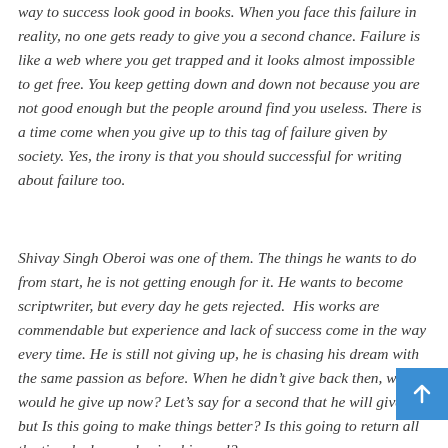way to success look good in books. When you face this failure in reality, no one gets ready to give you a second chance. Failure is like a web where you get trapped and it looks almost impossible to get free. You keep getting down and down not because you are not good enough but the people around find you useless. There is a time come when you give up to this tag of failure given by society. Yes, the irony is that you should successful for writing about failure too.
Shivay Singh Oberoi was one of them. The things he wants to do from start, he is not getting enough for it. He wants to become scriptwriter, but every day he gets rejected. His works are commendable but experience and lack of success come in the way every time. He is still not giving up, he is chasing his dream with the same passion as before. When he didn't give back then, why would he give up now? Let's say for a second that he will give up but Is this going to make things better? Is this going to return all the time he keeps chasing his goal?